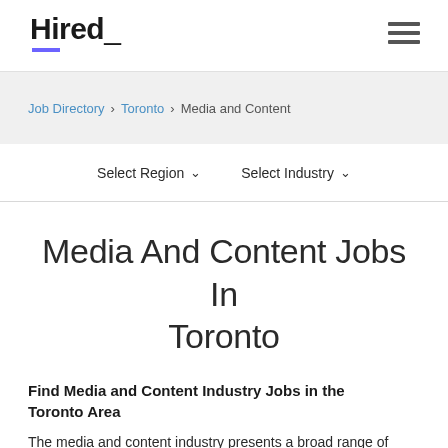Hired_
Job Directory > Toronto > Media and Content
Select Region  Select Industry
Media And Content Jobs In Toronto
Find Media and Content Industry Jobs in the Toronto Area
The media and content industry presents a broad range of employment opportunities, ranging from film, radio and television to film and television at the internet. Media the...